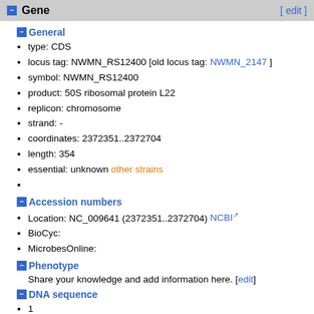Gene  [ edit ]
General
type: CDS
locus tag: NWMN_RS12400 [old locus tag: NWMN_2147 ]
symbol: NWMN_RS12400
product: 50S ribosomal protein L22
replicon: chromosome
strand: -
coordinates: 2372351..2372704
length: 354
essential: unknown other strains
Accession numbers
Location: NC_009641 (2372351..2372704) NCBI
BioCyc:
MicrobesOnline:
Phenotype
Share your knowledge and add information here. [edit]
DNA sequence
1